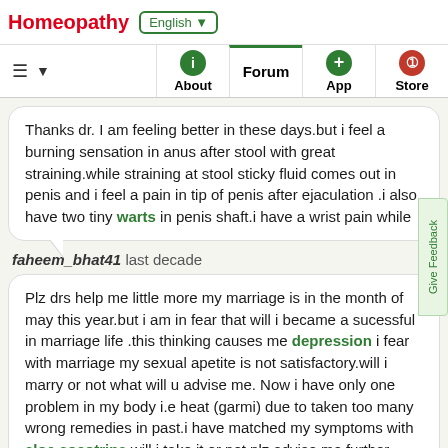Homeopathy | English ▼
≡ ▼ | About | Forum | App | Store
Thanks dr. I am feeling better in these days.but i feel a burning sensation in anus after stool with great straining.while straining at stool sticky fluid comes out in penis and i feel a pain in tip of penis after ejaculation .i also have two tiny warts in penis shaft.i have a wrist pain while
faheem_bhat41 last decade
Plz drs help me little more my marriage is in the month of may this year.but i am in fear that will i became a sucessful in marriage life .this thinking causes me depression i fear with marriage my sexual apetite is not satisfactory.will i marry or not what will u advise me. Now i have only one problem in my body i.e heat (garmi) due to taken too many wrong remedies in past.i have matched my symptoms with aloe socotrina will i take it or not plz advise me further.